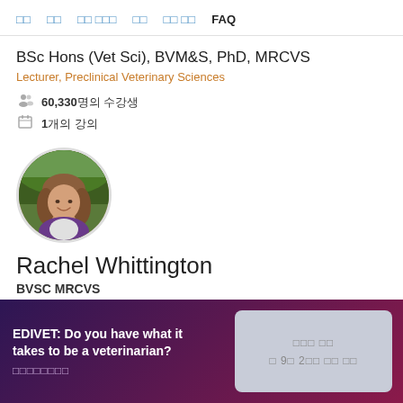□□  □□  □□ □□□  □□  □□ □□  FAQ
BSc Hons (Vet Sci), BVM&S, PhD, MRCVS
Lecturer, Preclinical Veterinary Sciences
60,330명의 수강생
1개의 강의
[Figure (photo): Circular profile photo of a woman with long brown hair, smiling, wearing a purple vest outdoors]
Rachel Whittington
BVSC MRCVS
Lecturer in Professional Skills
EDIVET: Do you have what it takes to be a veterinarian?
□□□□□□□□
□□□ □□
□ 9□ 2□□ □□ □□